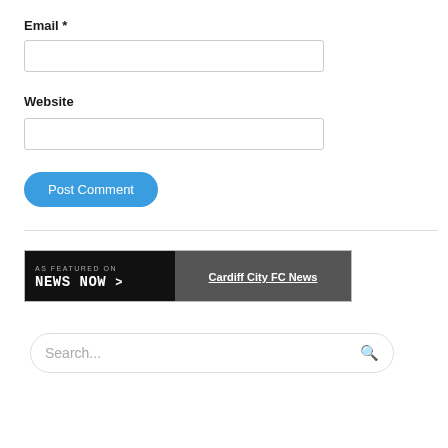Email *
[Figure (screenshot): Empty email text input field with light gray border]
Website
[Figure (screenshot): Empty website text input field with light gray border]
[Figure (screenshot): Blue rounded 'Post Comment' button]
[Figure (screenshot): News Now banner showing 'AS FEATURED ON NEWS NOW >' on dark background left side and 'Cardiff City FC News' underlined on dark gray right side]
[Figure (screenshot): Search input bar with placeholder text 'Search...' and magnifying glass icon on right]